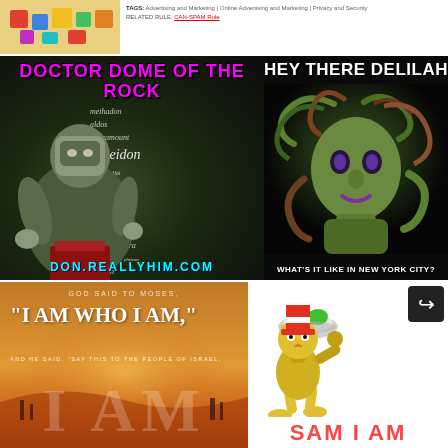[Figure (photo): Colorful toy blocks image in top left strip]
TAGS: Advertising and Marketing | Online Advertising and Marketing | Privacy and Security
RELATED RULE: CAN-SPAM Rule
[Figure (photo): Meme: 'DOCTOR DOME OF THE ROCK' with animated villain figure and words like methadon, wisdom, poseidon, paradon, etc. URL: DON.REALLYHIM.COM at bottom]
[Figure (photo): Meme: 'HEY THERE DELILAH' with Medusa illustration. Bottom text: 'WHAT'S IT LIKE IN NEW YORK CITY?']
[Figure (photo): Meme with orange desert background. Text: 'GOD SAID TO MOSES, "I AM WHO I AM," AND HE SAID, "SAY THIS TO THE PEOPLE OF ISRAEL: I AM']
[Figure (photo): Dr. Seuss Sam-I-Am character holding green eggs. Share icon in top right. Bottom text: 'SAM I AM' in red]